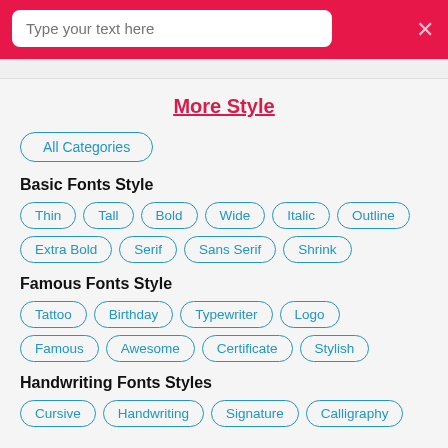[Figure (screenshot): Search bar input field with placeholder text 'Type your text here' on a red/crimson background with an X close button]
More Style
All Categories
Basic Fonts Style
Thin
Tall
Bold
Wide
Italic
Outline
Extra Bold
Serif
Sans Serif
Shrink
Famous Fonts Style
Tattoo
Birthday
Typewriter
Logo
Famous
Awesome
Certificate
Stylish
Handwriting Fonts Styles
Cursive
Handwriting
Signature
Calligraphy